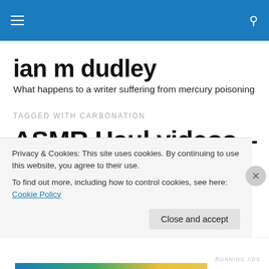Navigation bar with hamburger menu and search icon
ian m dudley
What happens to a writer suffering from mercury poisoning
TAGGED WITH CARBONATION
ASMR Haul videos – how to make spine-tingling
Privacy & Cookies: This site uses cookies. By continuing to use this website, you agree to their use.
To find out more, including how to control cookies, see here: Cookie Policy
Close and accept